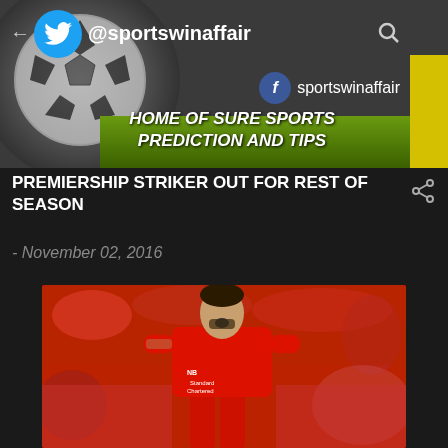@sportswinaffair | sportswinaffair | HOME OF SURE SPORTS PREDICTION AND TIPS
PREMIERSHIP STRIKER OUT FOR REST OF SEASON
- November 02, 2016
[Figure (photo): Liverpool FC player in red Standard Chartered jersey, mouth open, during a match, with blurred red crowd in background]